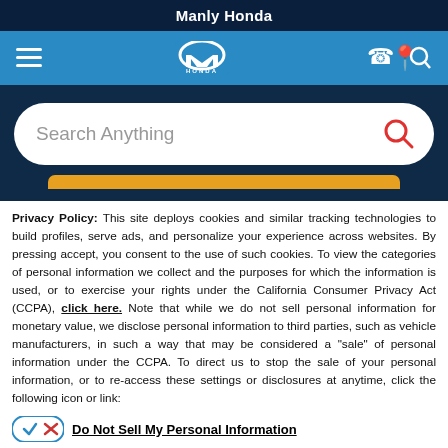Manly Honda
[Figure (screenshot): Honda dealer website navigation bar with hamburger menu, Honda logo, phone, location, and search icons on blue background]
[Figure (screenshot): Search bar with placeholder text 'Search Anything' and red search icon on dark navy background, with partial gold/orange button below]
Privacy Policy: This site deploys cookies and similar tracking technologies to build profiles, serve ads, and personalize your experience across websites. By pressing accept, you consent to the use of such cookies. To view the categories of personal information we collect and the purposes for which the information is used, or to exercise your rights under the California Consumer Privacy Act (CCPA), click here. Note that while we do not sell personal information for monetary value, we disclose personal information to third parties, such as vehicle manufacturers, in such a way that may be considered a "sale" of personal information under the CCPA. To direct us to stop the sale of your personal information, or to re-access these settings or disclosures at anytime, click the following icon or link:
Do Not Sell My Personal Information
Language: English  Powered by ComplyAuto
Accept and Continue →  California Privacy Disclosures  ×